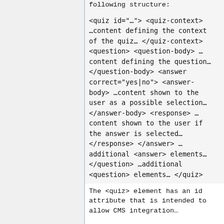element. A quiz has the following structure:
<quiz id="…"> <quiz-context> …content defining the context of the quiz… </quiz-context> <question> <question-body> … content defining the question… </question-body> <answer correct="yes|no"> <answer-body> …content shown to the user as a possible selection… </answer-body> <response> … content shown to the user if the answer is selected… </response> </answer> … additional <answer> elements… </question> …additional <question> elements… </quiz>
The <quiz> element has an id attribute that is intended to allow CMS integration...